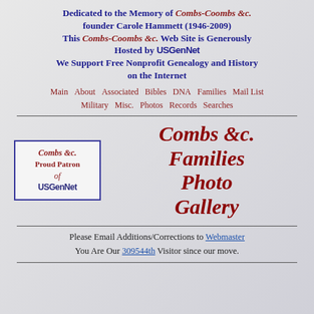Dedicated to the Memory of Combs-Coombs &c. founder Carole Hammett (1946-2009) This Combs-Coombs &c. Web Site is Generously Hosted by USGenNet We Support Free Nonprofit Genealogy and History on the Internet
Main About Associated Bibles DNA Families Mail List Military Misc. Photos Records Searches
[Figure (logo): Combs &c. Proud Patron of USGenNet badge with purple border]
Combs &c. Families Photo Gallery
Please Email Additions/Corrections to Webmaster You Are Our 309544th Visitor since our move.